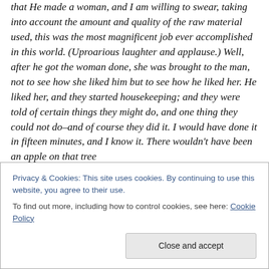that He made a woman, and I am willing to swear, taking into account the amount and quality of the raw material used, this was the most magnificent job ever accomplished in this world. (Uproarious laughter and applause.) Well, after he got the woman done, she was brought to the man, not to see how she liked him but to see how he liked her. He liked her, and they started housekeeping; and they were told of certain things they might do, and one thing they could not do–and of course they did it. I would have done it in fifteen minutes, and I know it. There wouldn't have been an apple on that tree
Privacy & Cookies: This site uses cookies. By continuing to use this website, you agree to their use.
To find out more, including how to control cookies, see here: Cookie Policy